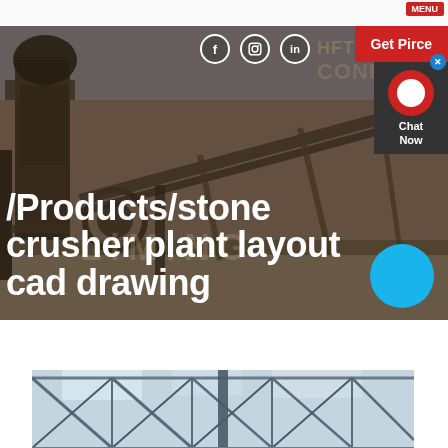[Figure (photo): Hero banner showing a stone crusher plant facility with industrial machinery, conveyor belts and structural steel, overlaid with large white bold text. Social media icons (Facebook, Instagram, LinkedIn) visible, along with a red 'Get Pirce' button and a dark chat widget on the right. Faded 'Cone Crusher' watermark text in the background.]
/Products/stone crusher plant layout cad drawing
[Figure (photo): Interior of an industrial building or warehouse showing steel roof trusses and structural beams, viewed from below at an angle.]